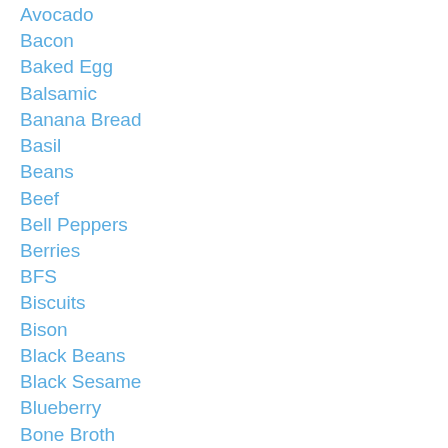Avocado
Bacon
Baked Egg
Balsamic
Banana Bread
Basil
Beans
Beef
Bell Peppers
Berries
BFS
Biscuits
Bison
Black Beans
Black Sesame
Blueberry
Bone Broth
Bone Broth
Breakfast
Brownies
Brown Rice